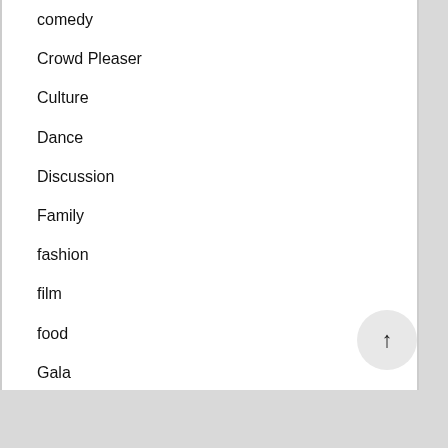comedy
Crowd Pleaser
Culture
Dance
Discussion
Family
fashion
film
food
Gala
General
Home
Hometown Heroes
Media